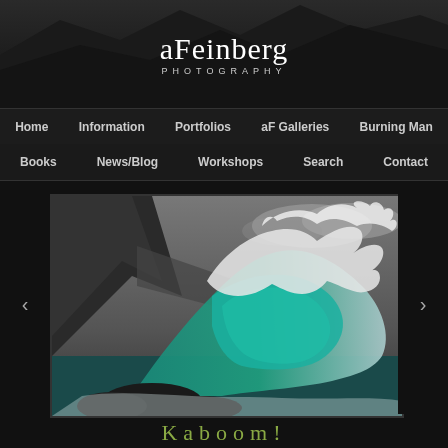aFeinberg Photography
Home | Information | Portfolios | aF Galleries | Burning Man
Books | News/Blog | Workshops | Search | Contact
[Figure (photo): Large dramatic ocean wave crashing with dark mountain cliffs in background, turquoise water visible through the wave curl, white spray at crest]
Kaboom!